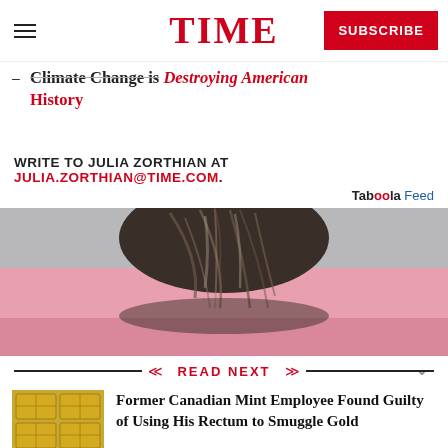TIME — SUBSCRIBE
Climate Change is Destroying American History
WRITE TO JULIA ZORTHIAN AT JULIA.ZORTHIAN@TIME.COM.
Taboola Feed
[Figure (photo): Top of a person's head with dark hair, bowed down, against a pink background]
READ NEXT
Former Canadian Mint Employee Found Guilty of Using His Rectum to Smuggle Gold